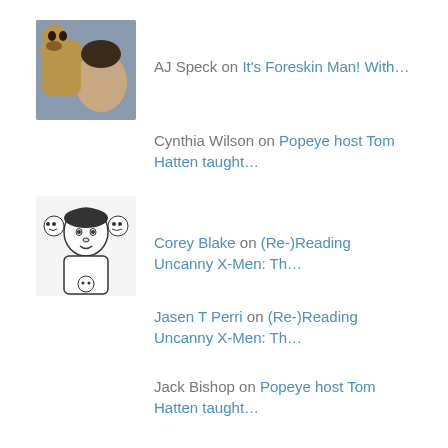AJ Speck on It's Foreskin Man! With…
Cynthia Wilson on Popeye host Tom Hatten taught…
Corey Blake on (Re-)Reading Uncanny X-Men: Th…
Jasen T Perri on (Re-)Reading Uncanny X-Men: Th…
Jack Bishop on Popeye host Tom Hatten taught…
Tom Hurst on Popeye host Tom Hatten taught…
Corey Blake on Flickr